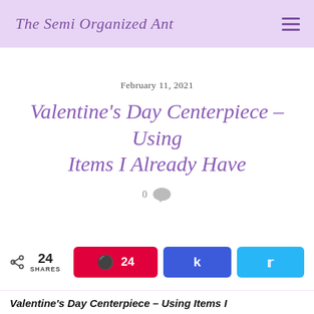The Semi Organized Ant
February 11, 2021
Valentine's Day Centerpiece – Using Items I Already Have
0 [comment bubble icon]
[Figure (infographic): Social share bar with share count 24 SHARES, Pinterest button with 24, Facebook button, Twitter button]
Valentine's Day Centerpiece – Using Items I